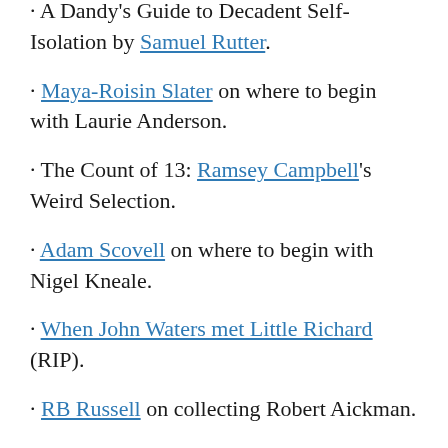A Dandy's Guide to Decadent Self-Isolation by Samuel Rutter.
Maya-Roisin Slater on where to begin with Laurie Anderson.
The Count of 13: Ramsey Campbell's Weird Selection.
Adam Scovell on where to begin with Nigel Kneale.
When John Waters met Little Richard (RIP).
RB Russell on collecting Robert Aickman.
Weird writers recommend weird films